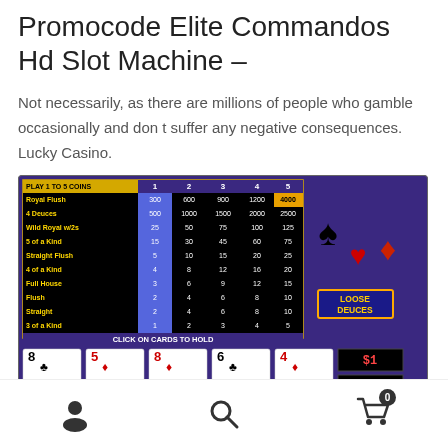Promocode Elite Commandos Hd Slot Machine –
Not necessarily, as there are millions of people who gamble occasionally and don t suffer any negative consequences. Lucky Casino.
[Figure (screenshot): Screenshot of a Loose Deuces video poker game showing a pay table with coin multipliers 1-5, hand rankings (Royal Flush, 4 Deuces, Wild Royal w/2s, 5 of a Kind, Straight Flush, 4 of a Kind, Full House, Flush, Straight, 3 of a Kind) and corresponding payouts, plus playing cards showing 8♣, 5♦, 8♦, 6♣, 4♦ at the bottom, $1 bet indicator, and 0 credit display.]